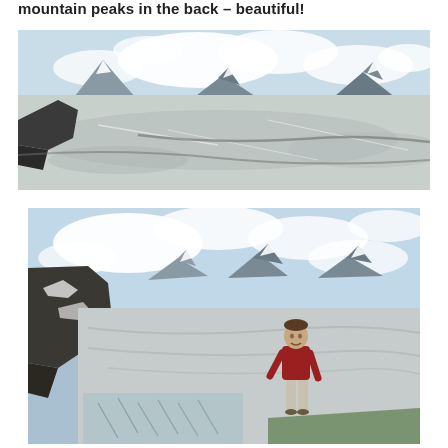mountain peaks in the back – beautiful!
[Figure (photo): Panoramic view of a vast glacier with snow-covered mountain peaks partially obscured by clouds in the background, rocky terrain in the foreground left.]
[Figure (photo): A man in a red long-sleeve shirt and light pants standing on a glacier with snow-covered mountain peaks and clouds visible in the background, rocky slopes on the left.]